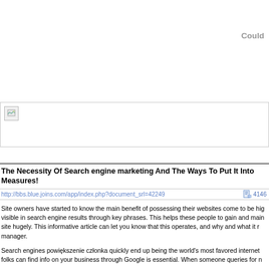Could
[Figure (other): Broken/missing image placeholder with small icon in top-left corner, bordered box]
The Necessity Of Search engine marketing And The Ways To Put It Into Measures!
http://bbs.blue.joins.com/app/index.php?document_srl=42249   4146
Site owners have started to know the main benefit of possessing their websites come to be hig visible in search engine results through key phrases. This helps these people to gain and main site hugely. This informative article can let you know that this operates, and why and what it r manager.
Search engines powiększenie członka quickly end up being the world's most favored internet folks can find info on your business through Google is essential. When someone queries for n